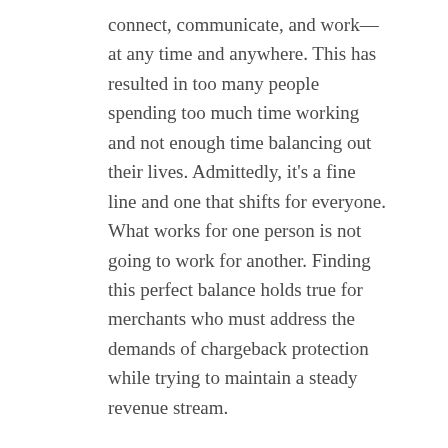connect, communicate, and work—at any time and anywhere. This has resulted in too many people spending too much time working and not enough time balancing out their lives. Admittedly, it's a fine line and one that shifts for everyone. What works for one person is not going to work for another. Finding this perfect balance holds true for merchants who must address the demands of chargeback protection while trying to maintain a steady revenue stream.
With the ability to always be connected and communicating, merchants are spending more time analyzing their customer habits and looking out for chargeback and fraud risks. However, it's very easy to become overly aggressive with your chargeback protection solution.